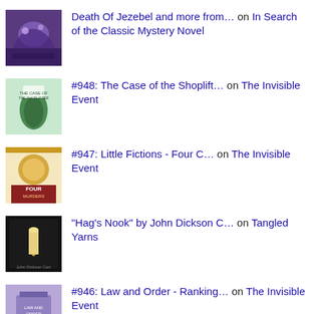Death Of Jezebel and more from... on In Search of the Classic Mystery Novel
#948: The Case of the Shoplift... on The Invisible Event
#947: Little Fictions - Four C... on The Invisible Event
"Hag's Nook" by John Dickson C... on Tangled Yarns
#946: Law and Order - Ranking... on The Invisible Event
The Piccadilly Murder (1929) b... on In Search of the Classic Mystery Novel
#945: Man Overboard!, a.k.a. C... on The